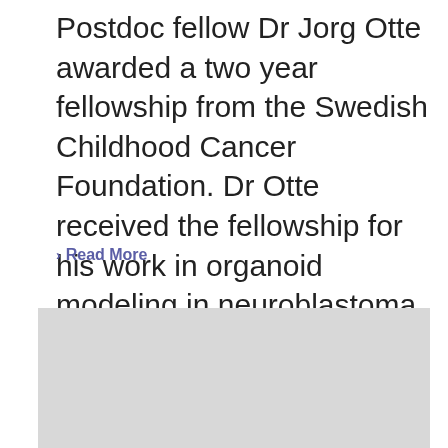Postdoc fellow Dr Jorg Otte awarded a two year fellowship from the Swedish Childhood Cancer Foundation. Dr Otte received the fellowship for his work in organoid modeling in neuroblastoma focusing [...]
Read More
[Figure (other): A large light gray placeholder image block with a dark gray scroll-to-top button in the upper right corner containing a white upward chevron arrow.]